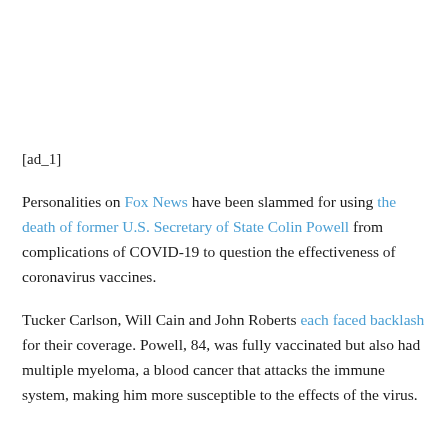[ad_1]
Personalities on Fox News have been slammed for using the death of former U.S. Secretary of State Colin Powell from complications of COVID-19 to question the effectiveness of coronavirus vaccines.
Tucker Carlson, Will Cain and John Roberts each faced backlash for their coverage. Powell, 84, was fully vaccinated but also had multiple myeloma, a blood cancer that attacks the immune system, making him more susceptible to the effects of the virus.